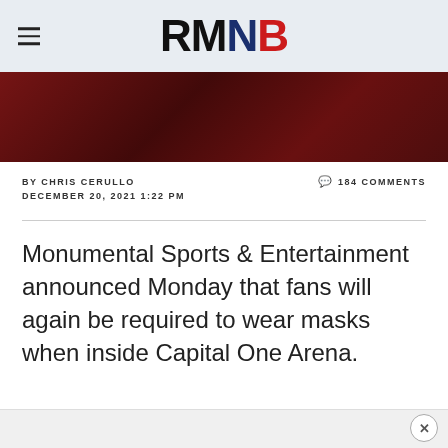RMNB
[Figure (photo): Hero image showing fans at Capital One Arena in red lighting]
BY CHRIS CERULLO
DECEMBER 20, 2021 1:22 PM
💬 184 COMMENTS
Monumental Sports & Entertainment announced Monday that fans will again be required to wear masks when inside Capital One Arena.